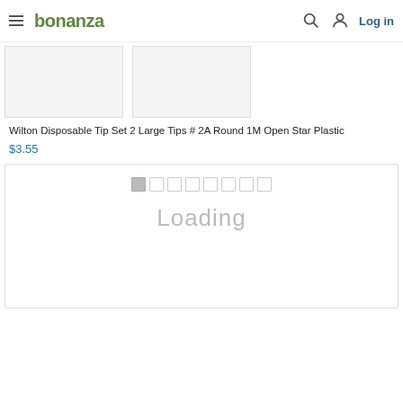bonanza | Log in
Wilton Disposable Tip Set 2 Large Tips # 2A Round 1M Open Star Plastic
$3.55
[Figure (screenshot): Loading placeholder with pagination dots and 'Loading' text in gray]